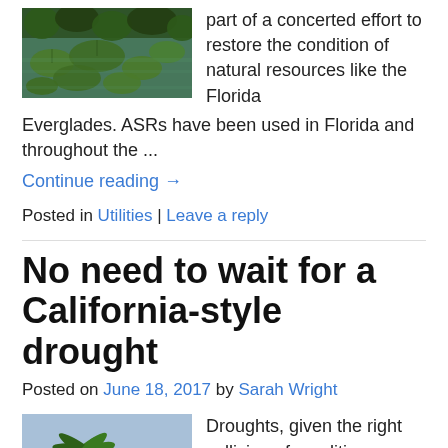[Figure (photo): Aerial or close-up view of lily pads and green aquatic vegetation on water, representing the Florida Everglades.]
part of a concerted effort to restore the condition of natural resources like the Florida Everglades. ASRs have been used in Florida and throughout the ...
Continue reading →
Posted in Utilities | Leave a reply
No need to wait for a California-style drought
Posted on June 18, 2017 by Sarah Wright
[Figure (photo): Street scene with a palm tree in the foreground, a road with cars, and dry landscaping, suggesting a drought-prone or arid urban environment.]
Droughts, given the right collision of conditions, can take root anywhere, with sections of The Municipal's readership already having experienced varying levels of drought early on in 2017. And as the